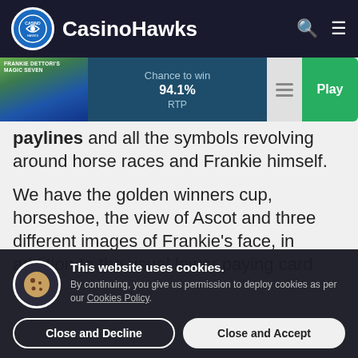CasinoHawks
[Figure (screenshot): CasinoHawks game info bar showing horse racing thumbnail, Chance to win label, 94.1% RTP, lines button, and green Play button]
paylines and all the symbols revolving around horse races and Frankie himself.
We have the golden winners cup, horseshoe, the view of Ascot and three different images of Frankie's face, in addition to the usual lower paying card
This website uses cookies. By continuing, you give us permission to deploy cookies as per our Cookies Policy.
Close and Decline
Close and Accept